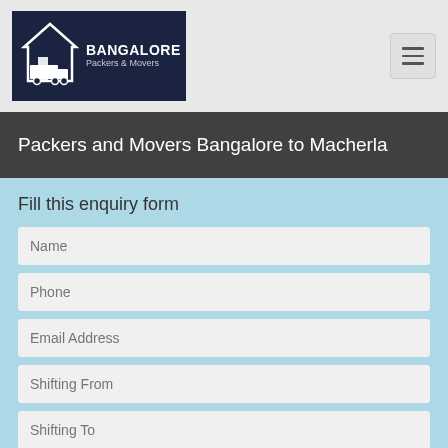Bangalore Packers & Movers logo and navigation
Packers and Movers Bangalore to Macherla
Fill this enquiry form
Name
Phone
Email Address
Shifting From
Shifting To
Want to Shift ?
Household
Car
Bike
Mini Tempo